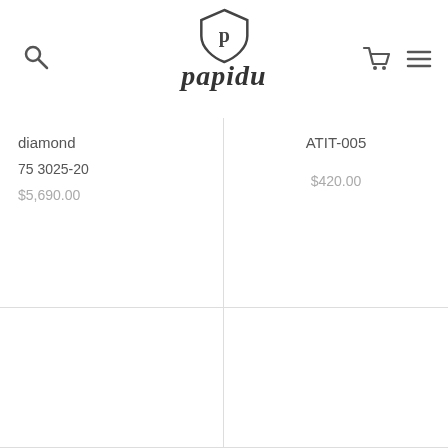[Figure (logo): Papidu brand logo with shield icon and gothic-style brand name text]
diamond
75 3025-20
$5,690.00
ATIT-005
$420.00